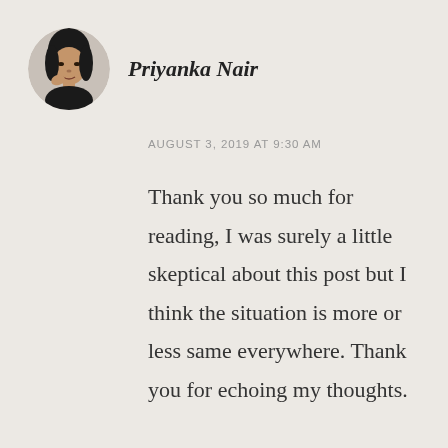[Figure (photo): Circular avatar photo of Priyanka Nair, a woman with dark hair]
Priyanka Nair
AUGUST 3, 2019 AT 9:30 AM
Thank you so much for reading, I was surely a little skeptical about this post but I think the situation is more or less same everywhere. Thank you for echoing my thoughts.